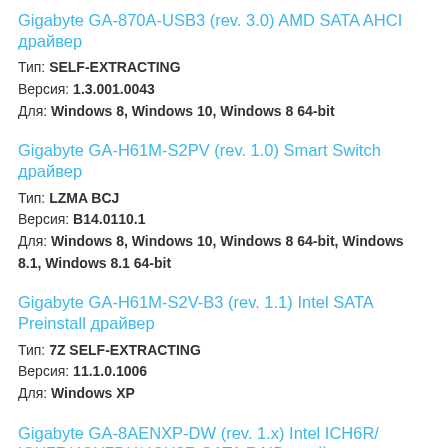Gigabyte GA-870A-USB3 (rev. 3.0) AMD SATA AHCI драйвер
Тип: SELF-EXTRACTING
Версия: 1.3.001.0043
Для: Windows 8, Windows 10, Windows 8 64-bit
Gigabyte GA-H61M-S2PV (rev. 1.0) Smart Switch драйвер
Тип: LZMA BCJ
Версия: B14.0110.1
Для: Windows 8, Windows 10, Windows 8 64-bit, Windows 8.1, Windows 8.1 64-bit
Gigabyte GA-H61M-S2V-B3 (rev. 1.1) Intel SATA Preinstall драйвер
Тип: 7Z SELF-EXTRACTING
Версия: 11.1.0.1006
Для: Windows XP
Gigabyte GA-8AENXP-DW (rev. 1.x) Intel ICH6R/ ICH7R/ ICH7DH/ ICH8R SATA RAID драйвер